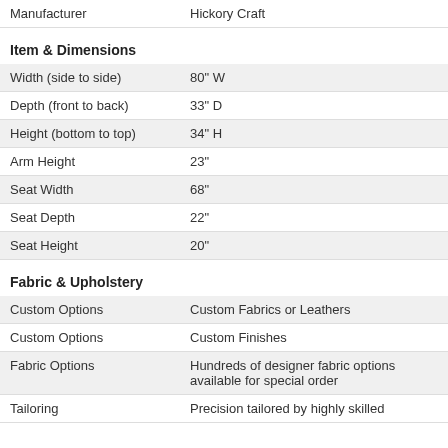|  |  |
| --- | --- |
| Manufacturer | Hickory Craft |
Item & Dimensions
| Width (side to side) | 80" W |
| Depth (front to back) | 33" D |
| Height (bottom to top) | 34" H |
| Arm Height | 23" |
| Seat Width | 68" |
| Seat Depth | 22" |
| Seat Height | 20" |
Fabric & Upholstery
| Custom Options | Custom Fabrics or Leathers |
| Custom Options | Custom Finishes |
| Fabric Options | Hundreds of designer fabric options available for special order |
| Tailoring | Precision tailored by highly skilled |